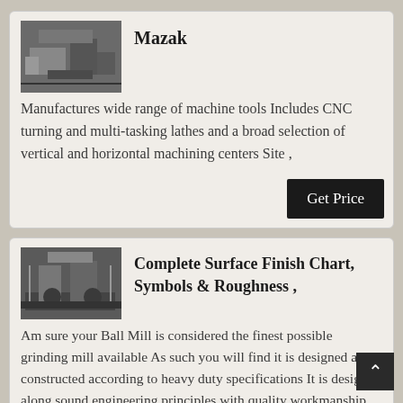[Figure (photo): Industrial machine tool in a factory setting, grayscale photo]
Mazak
Manufactures wide range of machine tools Includes CNC turning and multi-tasking lathes and a broad selection of vertical and horizontal machining centers Site ,
[Figure (photo): Industrial grinding mill equipment in a factory setting, grayscale photo]
Complete Surface Finish Chart, Symbols & Roughness ,
Am sure your Ball Mill is considered the finest possible grinding mill available As such you will find it is designed and constructed according to heavy duty specifications It is designed along sound engineering principles with quality workmanship and materials used in the construction of the